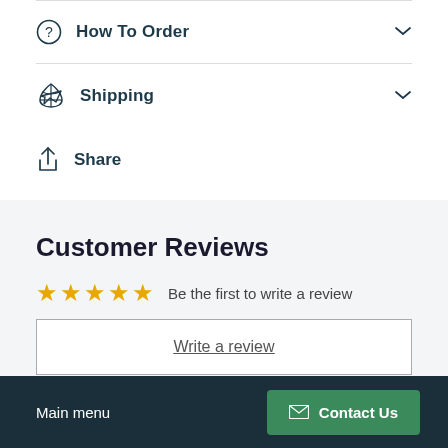How To Order
Shipping
Share
Customer Reviews
Be the first to write a review
Write a review
Main menu  Contact Us